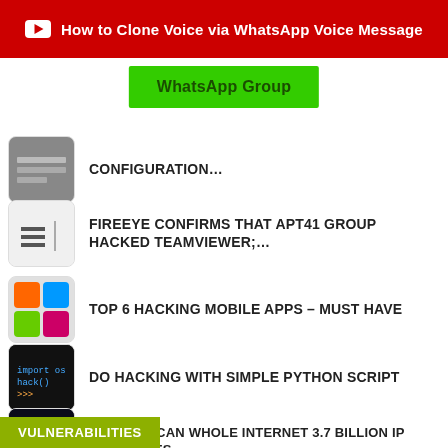How to Clone Voice via WhatsApp Voice Message
WhatsApp Group
CONFIGURATION…
FIREEYE CONFIRMS THAT APT41 GROUP HACKED TEAMVIEWER;…
TOP 6 HACKING MOBILE APPS – MUST HAVE
DO HACKING WITH SIMPLE PYTHON SCRIPT
HOW TO SCAN WHOLE INTERNET 3.7 BILLION IP ADDRESSES…
GENERATE ANDROID APP IN 2 MINS AND HACK ANY ANDROID MOBILE
VULNERABILITIES